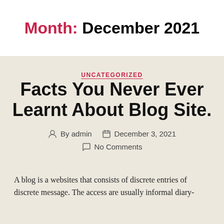Month: December 2021
UNCATEGORIZED
Facts You Never Ever Learnt About Blog Site.
By admin  December 3, 2021  No Comments
A blog is a websites that consists of discrete entries of discrete message. The access are usually informal diary-